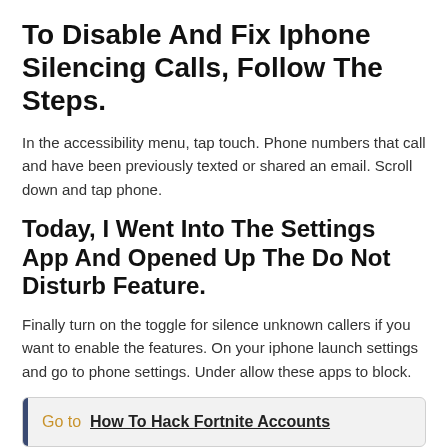To Disable And Fix Iphone Silencing Calls, Follow The Steps.
In the accessibility menu, tap touch. Phone numbers that call and have been previously texted or shared an email. Scroll down and tap phone.
Today, I Went Into The Settings App And Opened Up The Do Not Disturb Feature.
Finally turn on the toggle for silence unknown callers if you want to enable the features. On your iphone launch settings and go to phone settings. Under allow these apps to block.
Go to  How To Hack Fortnite Accounts
content
1. Then Turn Iphone Back On, Press And Hold The Side.